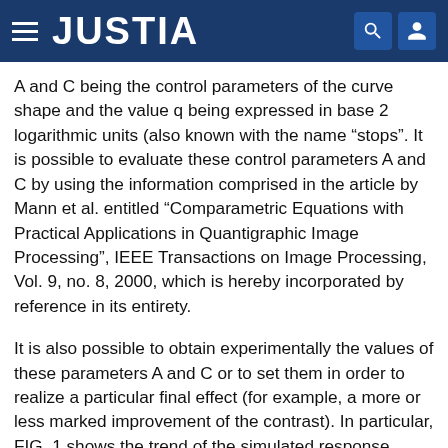JUSTIA
A and C being the control parameters of the curve shape and the value q being expressed in base 2 logarithmic units (also known with the name “stops”. It is possible to evaluate these control parameters A and C by using the information comprised in the article by Mann et al. entitled “Comparametric Equations with Practical Applications in Quantigraphic Image Processing”, IEEE Transactions on Image Processing, Vol. 9, no. 8, 2000, which is hereby incorporated by reference in its entirety.
It is also possible to obtain experimentally the values of these parameters A and C or to set them in order to realize a particular final effect (for example, a more or less marked improvement of the contrast). In particular, FIG. 1 shows the trend of the simulated response curve expressed by the formula (2) with A=7 and C=0.13.